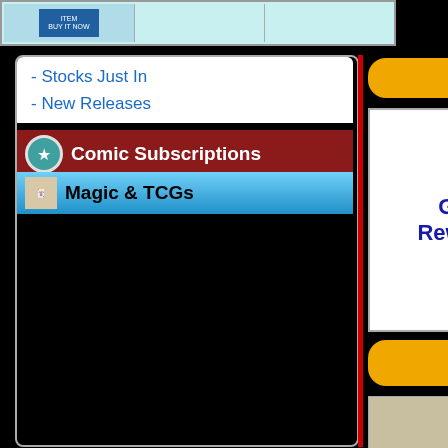[Figure (screenshot): Top banner area with product image cell and two empty cells on cyan background]
- Stocks Just In
- New Releases
Comic Subscriptions
Magic & TCGs
Free Dice Set, Free Comics
GOB Rewards
Sell your Board Games
View Shopping Cart
Board Games Consignment
Board Games Rental
GOB is Hiring
Shipping Rates
220,000+ Magic Singles in Stock !
Extra $30 Magic The
Cond
Inve
Issu
Con
By Y
Con
Inve
Sear
By R
Inve
Mi